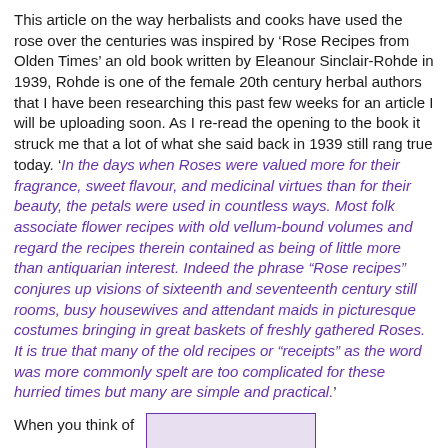This article on the way herbalists and cooks have used the rose over the centuries was inspired by 'Rose Recipes from Olden Times' an old book written by Eleanour Sinclair-Rohde in 1939, Rohde is one of the female 20th century herbal authors that I have been researching this past few weeks for an article I will be uploading soon. As I re-read the opening to the book it struck me that a lot of what she said back in 1939 still rang true today. 'In the days when Roses were valued more for their fragrance, sweet flavour, and medicinal virtues than for their beauty, the petals were used in countless ways. Most folk associate flower recipes with old vellum-bound volumes and regard the recipes therein contained as being of little more than antiquarian interest. Indeed the phrase "Rose recipes" conjures up visions of sixteenth and seventeenth century still rooms, busy housewives and attendant maids in picturesque costumes bringing in great baskets of freshly gathered Roses. It is true that many of the old recipes or "receipts" as the word was more commonly spelt are too complicated for these hurried times but many are simple and practical.'
When you think of
[Figure (photo): A small image with a purple border, partially visible at the bottom right of the page.]